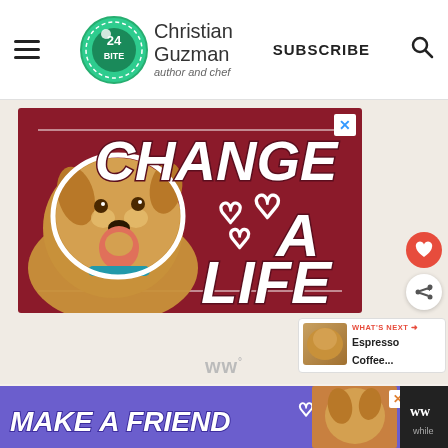Christian Guzman author and chef | SUBSCRIBE
[Figure (illustration): Advertisement banner with dark red background showing a dog (golden/tan pit bull mix) on left and bold white italic text 'CHANGE A LIFE' with heart outlines. Close button (X) in upper right.]
WHAT'S NEXT → Espresso Coffee...
ww°
[Figure (illustration): Bottom advertisement banner with purple background showing bold white italic text 'MAKE A FRIEND' with a dog image and heart icon. Close X button. Right side shows black area with 'ww' logo and 'while' text.]